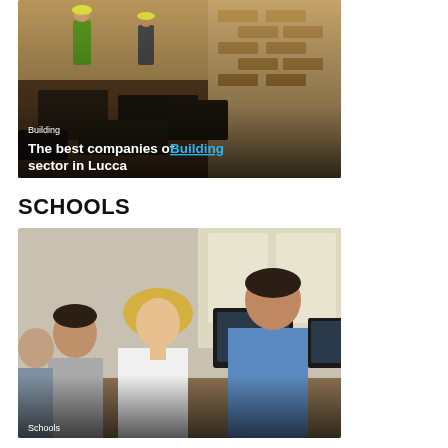[Figure (photo): Construction site photo showing workers and stone/brick materials, with overlay text 'Building' and 'The best companies of Building sector in Lucca']
SCHOOLS
[Figure (photo): Office/classroom scene with a blonde woman and a man in a blue shirt looking at a computer monitor, other people in background, with 'Schools' caption text at bottom]